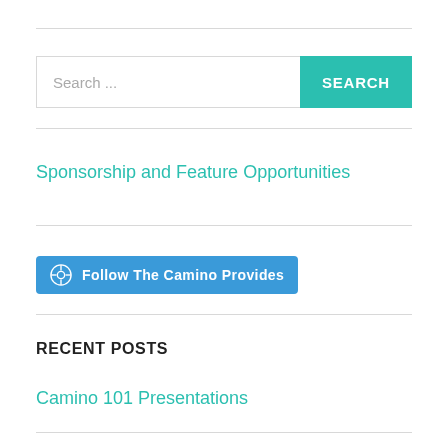Search ...
Sponsorship and Feature Opportunities
[Figure (other): Follow The Camino Provides WordPress follow button with blue background and WordPress logo icon]
RECENT POSTS
Camino 101 Presentations